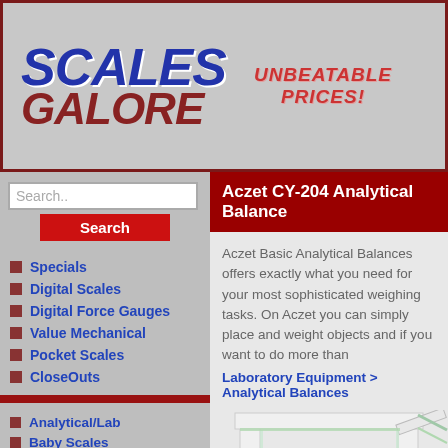[Figure (logo): Scales Galore logo with UNBEATABLE PRICES text]
Search..
Search
Specials
Digital Scales
Digital Force Gauges
Value Mechanical
Pocket Scales
CloseOuts
Analytical/Lab
Baby Scales
Bariatric Scales
Bathroom Scales
Calibration Weights
Cannabis Scales
Checkweighing Scales
Coffee Scales
Counting Scales
Aczet CY-204 Analytical Balance
Aczet Basic Analytical Balances offers exactly what you need for your most sophisticated weighing tasks. On Aczet you can simply place and weight objects and if you want to do more than
Laboratory Equipment > Analytical Balances
[Figure (photo): Aczet CY-204 Analytical Balance product photo showing glass enclosure]